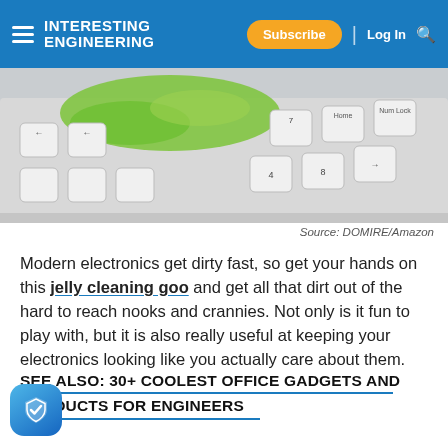Interesting Engineering — Subscribe | Log In
[Figure (photo): Close-up photo of a white keyboard with green jelly cleaning goo being applied to the keys]
Source: DOMIRE/Amazon
Modern electronics get dirty fast, so get your hands on this jelly cleaning goo and get all that dirt out of the hard to reach nooks and crannies. Not only is it fun to play with, but it is also really useful at keeping your electronics looking like you actually care about them.
SEE ALSO: 30+ COOLEST OFFICE GADGETS AND PRODUCTS FOR ENGINEERS